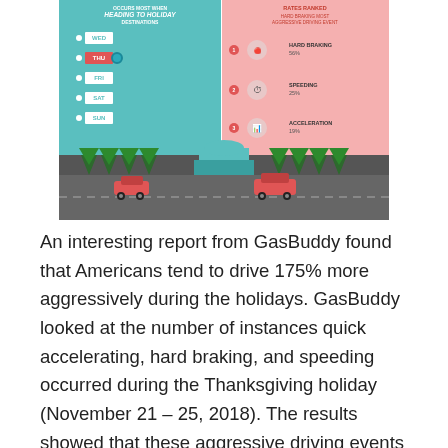[Figure (infographic): GasBuddy infographic showing aggressive driving events during Thanksgiving holiday. Left panel (teal): days of the week WED through SUN with THU highlighted indicating most aggressive driving occurs heading TO holiday destinations. Right panel (pink): Hard Braking 56%, Speeding 25%, Acceleration 19% as top rated events. Bottom: illustrated road scene with cars and trees.]
An interesting report from GasBuddy found that Americans tend to drive 175% more aggressively during the holidays. GasBuddy looked at the number of instances quick accelerating, hard braking, and speeding occurred during the Thanksgiving holiday (November 21 – 25, 2018). The results showed that these aggressive driving events happened most often on the day leading up to the holiday. An interesting thing to note as we consider it, is that the